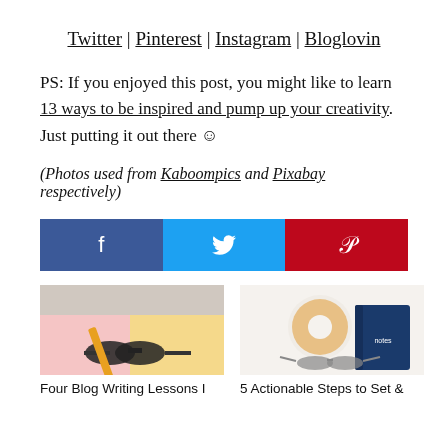Twitter | Pinterest | Instagram | Bloglovin
PS: If you enjoyed this post, you might like to learn 13 ways to be inspired and pump up your creativity. Just putting it out there ☺
(Photos used from Kaboompics and Pixabay respectively)
[Figure (other): Social share buttons: Facebook (dark blue), Twitter (light blue), Pinterest (red) with respective icons f, bird, p]
[Figure (photo): Thumbnail image of blog post: Four Blog Writing Lessons I - shows stationery, glasses, colorful paper]
Four Blog Writing Lessons I
[Figure (photo): Thumbnail image of blog post: 5 Actionable Steps to Set & - shows donut, glasses, notebook on white background]
5 Actionable Steps to Set &